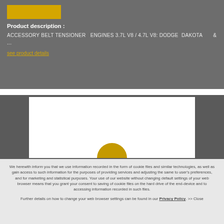[Figure (photo): Product image placeholder in yellow/gold color]
Product description :
ACCESSORY BELT TENSIONER   ENGINES 3.7L V8 / 4.7L V8: DODGE  DAKOTA       & ...
see product details
[Figure (photo): White box with a golden arc/loading spinner at the bottom, set inside a dark grey background section]
We herewith inform you that we use information recorded in the form of cookie files and similar technologies, as well as gain access to such information for the purposes of providing services and adjusting the same to user's preferences, and for marketing and statistical purposes. Your use of our website without changing default settings of your web browser means that you grant your consent to saving of cookie files on the hard drive of the end-device and to accessing information recorded in such files.
Further details on how to change your web browser settings can be found in our Privacy Policy. >> Close